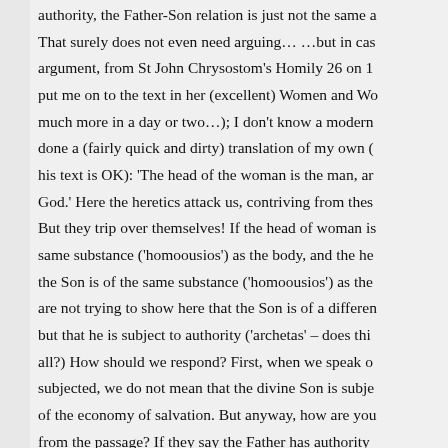authority, the Father-Son relation is just not the same a That surely does not even need arguing… …but in cas argument, from St John Chrysostom's Homily 26 on 1 put me on to the text in her (excellent) Women and Wo much more in a day or two…); I don't know a modern done a (fairly quick and dirty) translation of my own ( his text is OK): 'The head of the woman is the man, ar God.' Here the heretics attack us, contriving from thes But they trip over themselves! If the head of woman is same substance ('homoousios') as the body, and the he the Son is of the same substance ('homoousios') as the are not trying to show here that the Son is of a differen but that he is subject to authority ('archetas' – does thi all?) How should we respond? First, when we speak o subjected, we do not mean that the divine Son is subje of the economy of salvation. But anyway, how are you from the passage? If they say the Father has authority does over his wife, then they have to say that as Christ Father rules over the Son – the passage says 'the head